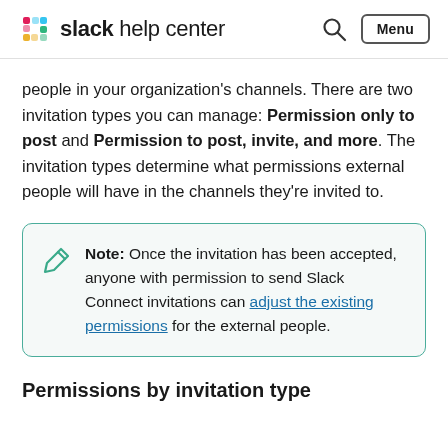slack help center
people in your organization's channels. There are two invitation types you can manage: Permission only to post and Permission to post, invite, and more. The invitation types determine what permissions external people will have in the channels they're invited to.
Note: Once the invitation has been accepted, anyone with permission to send Slack Connect invitations can adjust the existing permissions for the external people.
Permissions by invitation type